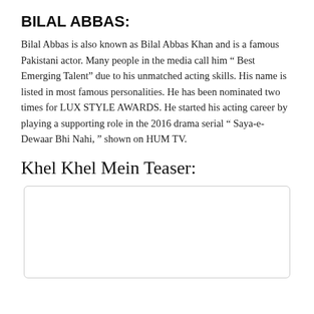BILAL ABBAS:
Bilal Abbas is also known as Bilal Abbas Khan and is a famous Pakistani actor. Many people in the media call him “ Best Emerging Talent” due to his unmatched acting skills. His name is listed in most famous personalities. He has been nominated two times for LUX STYLE AWARDS. He started his acting career by playing a supporting role in the 2016 drama serial “ Saya-e-Dewaar Bhi Nahi, ” shown on HUM TV.
Khel Khel Mein Teaser:
[Figure (other): Empty video embed box with rounded border, placeholder for Khel Khel Mein Teaser video]